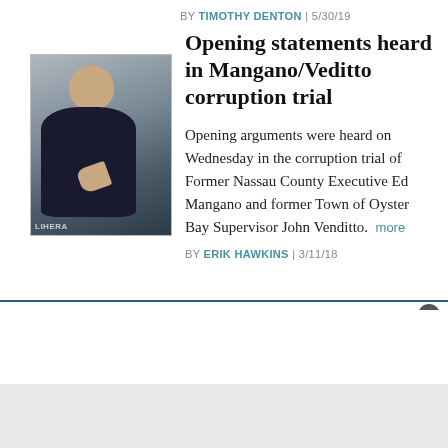BY TIMOTHY DENTON | 5/30/19
[Figure (photo): Photo of a man in a dark coat gesturing with his hand, smiling]
Opening statements heard in Mangano/Veditto corruption trial
Opening arguments were heard on Wednesday in the corruption trial of Former Nassau County Executive Ed Mangano and former Town of Oyster Bay Supervisor John Venditto. more
BY ERIK HAWKINS | 3/11/18